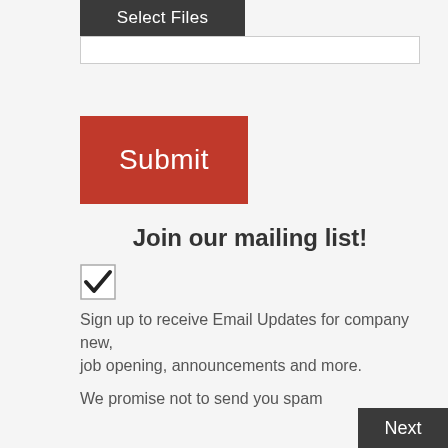[Figure (screenshot): Select Files button – dark grey rectangle with white text 'Select Files']
[Figure (screenshot): File input bar – white rectangle with grey border]
[Figure (screenshot): Submit button – red rectangle with white text 'Submit']
Join our mailing list!
[Figure (screenshot): Checked checkbox with black checkmark]
Sign up to receive Email Updates for company new,
job opening, announcements and more.
We promise not to send you spam
[Figure (screenshot): Next button – dark grey rectangle with white text 'Next']